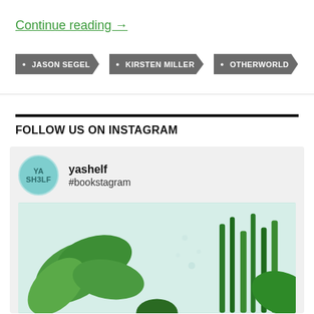Continue reading →
• JASON SEGEL
• KIRSTEN MILLER
• OTHERWORLD
FOLLOW US ON INSTAGRAM
[Figure (screenshot): Instagram widget showing yashelf account with #bookstagram handle and a photo of green plants on a light background]